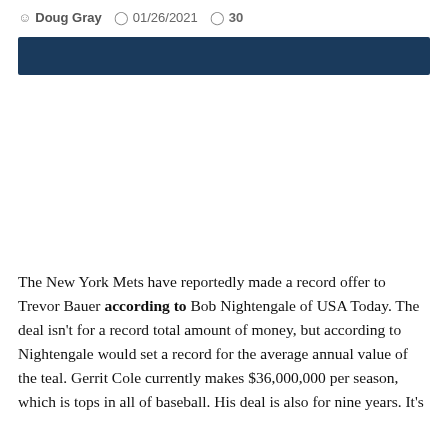Doug Gray  01/26/2021  30
[Figure (other): Dark navy blue banner/header bar]
The New York Mets have reportedly made a record offer to Trevor Bauer according to Bob Nightengale of USA Today. The deal isn't for a record total amount of money, but according to Nightengale would set a record for the average annual value of the teal. Gerrit Cole currently makes $36,000,000 per season, which is tops in all of baseball. His deal is also for nine years. It's